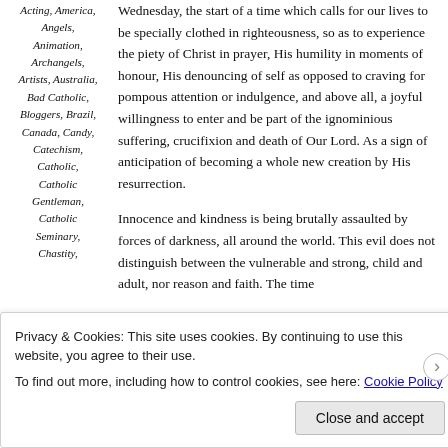Acting, America, Angels, Animation, Archangels, Artists, Australia, Bad Catholic, Bloggers, Brazil, Canada, Candy, Catechism, Catholic, Catholic Gentleman, Catholic Seminary, Chastity,
Wednesday, the start of a time which calls for our lives to be specially clothed in righteousness, so as to experience the piety of Christ in prayer, His humility in moments of honour, His denouncing of self as opposed to craving for pompous attention or indulgence, and above all, a joyful willingness to enter and be part of the ignominious suffering, crucifixion and death of Our Lord. As a sign of anticipation of becoming a whole new creation by His resurrection.
Innocence and kindness is being brutally assaulted by forces of darkness, all around the world. This evil does not distinguish between the vulnerable and strong, child and adult, nor reason and faith. The time
Privacy & Cookies: This site uses cookies. By continuing to use this website, you agree to their use. To find out more, including how to control cookies, see here: Cookie Policy